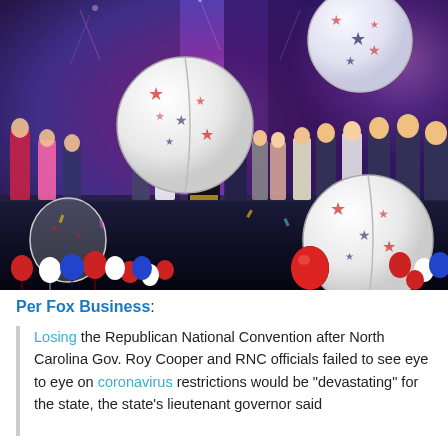[Figure (photo): A photo of a convention stage with people standing behind a podium, surrounded by large white balloons with red and blue stars, and smaller red, white, and blue balloons on the floor. The background shows colorful fireworks or confetti lighting on large screens.]
Per Fox Business:
Losing the Republican National Convention after North Carolina Gov. Roy Cooper and RNC officials failed to see eye to eye on coronavirus restrictions would be "devastating" for the state, the state's lieutenant governor said